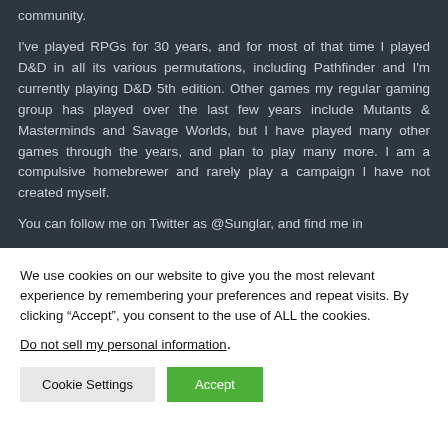community.

I've played RPGs for 30 years, and for most of that time I played D&D in all its various permutations, including Pathfinder and I'm currently playing D&D 5th edition. Other games my regular gaming group has played over the last few years include Mutants & Masterminds and Savage Worlds, but I have played many other games through the years, and plan to play many more. I am a compulsive homebrewer and rarely play a campaign I have not created myself.

You can follow me on Twitter as @Sunglar, and find me in
We use cookies on our website to give you the most relevant experience by remembering your preferences and repeat visits. By clicking “Accept”, you consent to the use of ALL the cookies.
Do not sell my personal information.
Cookie Settings   Accept